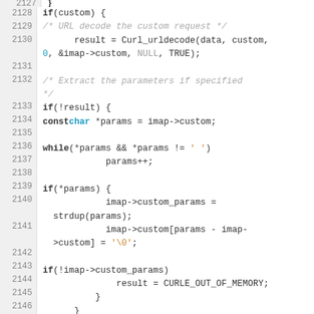[Figure (screenshot): Source code viewer showing C code lines 2127-2147 with syntax highlighting. Line numbers in grey left gutter, keywords bold, type names in teal, comments in grey italic, string/char literals in orange.]